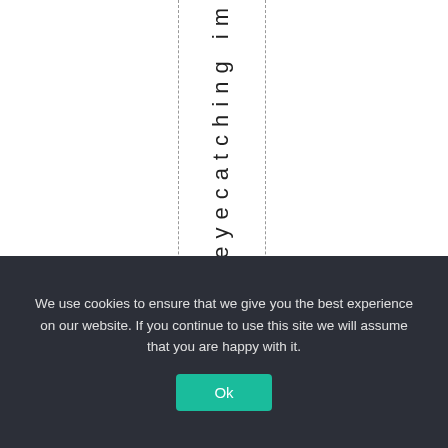akeaneyecatching im
We use cookies to ensure that we give you the best experience on our website. If you continue to use this site we will assume that you are happy with it. Ok